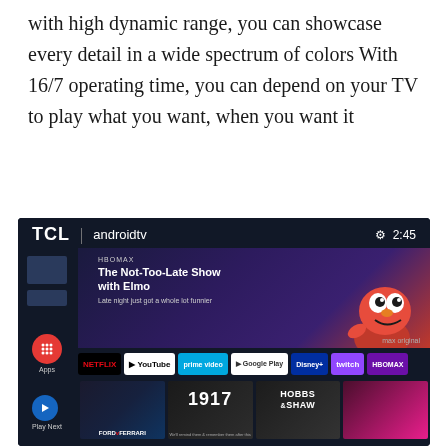with high dynamic range, you can showcase every detail in a wide spectrum of colors With 16/7 operating time, you can depend on your TV to play what you want, when you want it
[Figure (screenshot): TCL Android TV interface screenshot showing the home screen with apps row (Netflix, YouTube, Prime Video, Google Play, Disney+, Twitch, HBO Max), a featured show 'The Not-Too-Late Show with Elmo' with Elmo character on the right, and content thumbnails including Ford v Ferrari, 1917, Hobbs & Shaw. Time shown is 2:45.]